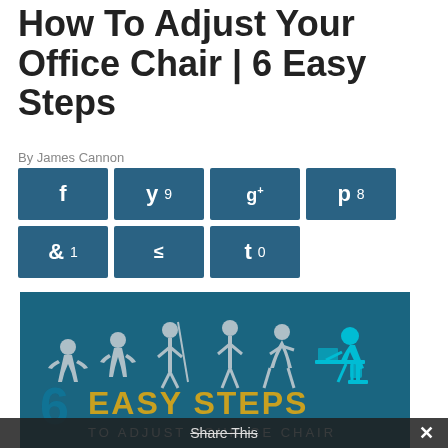How To Adjust Your Office Chair | 6 Easy Steps
By James Cannon
[Figure (infographic): Social share buttons: Facebook, Twitter (9), Google+, Pinterest (8), Reddit (1), StumbleUpon, Tumblr (0)]
[Figure (infographic): Infographic showing evolution of man progressing from ape to office worker at a computer, with text '6 Easy Steps to Adjust Your Office Chair']
Share This